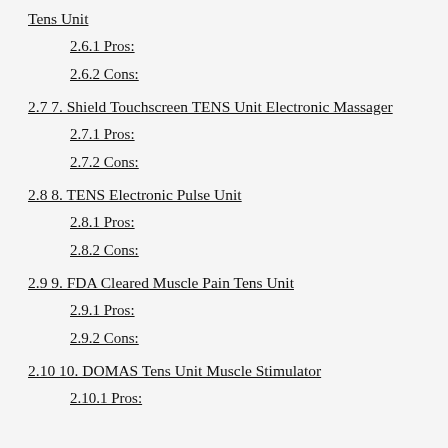Tens Unit
2.6.1 Pros:
2.6.2 Cons:
2.7 7. Shield Touchscreen TENS Unit Electronic Massager
2.7.1 Pros:
2.7.2 Cons:
2.8 8. TENS Electronic Pulse Unit
2.8.1 Pros:
2.8.2 Cons:
2.9 9. FDA Cleared Muscle Pain Tens Unit
2.9.1 Pros:
2.9.2 Cons:
2.10 10. DOMAS Tens Unit Muscle Stimulator
2.10.1 Pros: